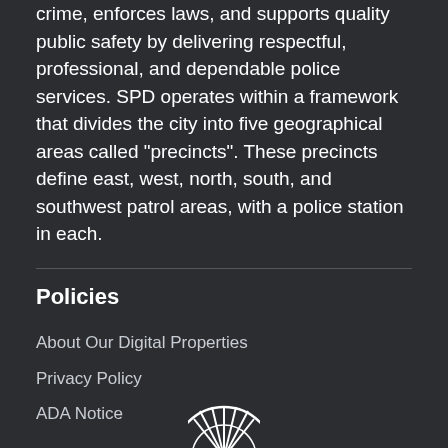crime, enforces laws, and supports quality public safety by delivering respectful, professional, and dependable police services. SPD operates within a framework that divides the city into five geographical areas called "precincts". These precincts define east, west, north, south, and southwest patrol areas, with a police station in each.
Policies
About Our Digital Properties
Privacy Policy
ADA Notice
[Figure (logo): Partial view of a circular logo/seal at the bottom center of the page]